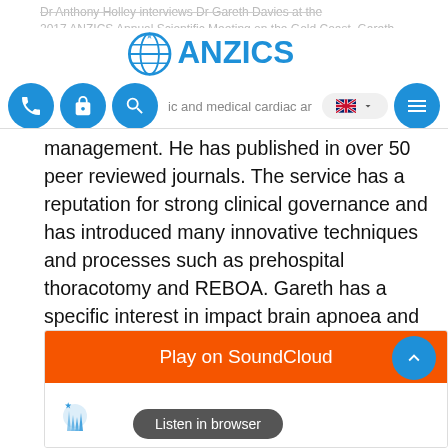ANZICS
Dr Anthony Holley interviews Dr Gareth Davies at the 2017 ANZICS Annual Scientific Meeting on the Gold Coast. Gareth has a specialist interest in the prehospital phase of traumatic and medical cardiac arrest, mechanism of injury, and major incident management. He has published in over 50 peer reviewed journals. The service has a reputation for strong clinical governance and has introduced many innovative techniques and processes such as prehospital thoracotomy and REBOA. Gareth has a specific interest in impact brain apnoea and its role in major trauma survival. He has been the lead consultant at many of London's major incidents, including the Paddington Rail Disaster and the 7th of July 2005 Bombings.
[Figure (screenshot): SoundCloud embedded player with orange Play on SoundCloud button and Listen in browser option below]